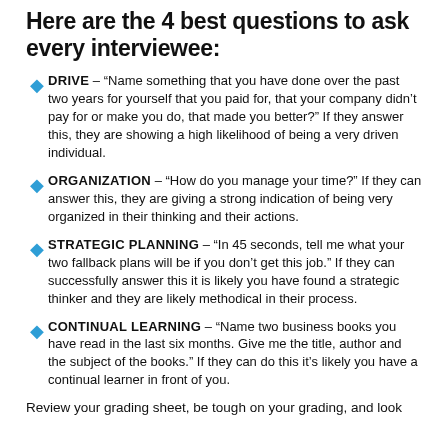Here are the 4 best questions to ask every interviewee:
DRIVE – “Name something that you have done over the past two years for yourself that you paid for, that your company didn’t pay for or make you do, that made you better?” If they answer this, they are showing a high likelihood of being a very driven individual.
ORGANIZATION – “How do you manage your time?” If they can answer this, they are giving a strong indication of being very organized in their thinking and their actions.
STRATEGIC PLANNING – “In 45 seconds, tell me what your two fallback plans will be if you don’t get this job.” If they can successfully answer this it is likely you have found a strategic thinker and they are likely methodical in their process.
CONTINUAL LEARNING – “Name two business books you have read in the last six months. Give me the title, author and the subject of the books.” If they can do this it’s likely you have a continual learner in front of you.
Review your grading sheet, be tough on your grading, and look for…